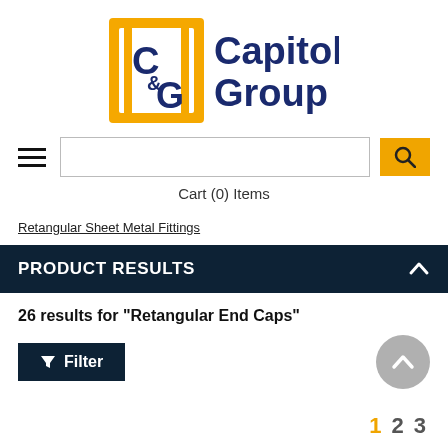[Figure (logo): Capitol Group logo with stylized C and G letters in yellow/gold box with dark blue 'Capitol Group' text]
Cart (0) Items
Retangular Sheet Metal Fittings
PRODUCT RESULTS
26 results for "Retangular End Caps"
Filter
1 2 3